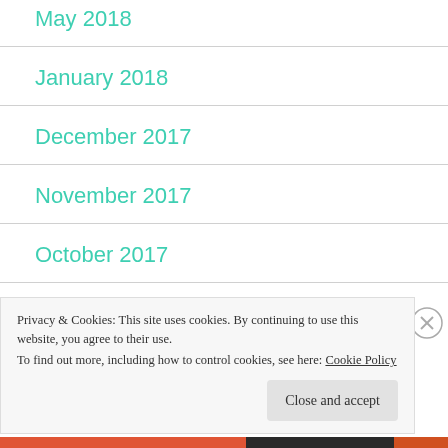May 2018
January 2018
December 2017
November 2017
October 2017
May 2017
Privacy & Cookies: This site uses cookies. By continuing to use this website, you agree to their use.
To find out more, including how to control cookies, see here: Cookie Policy
Close and accept